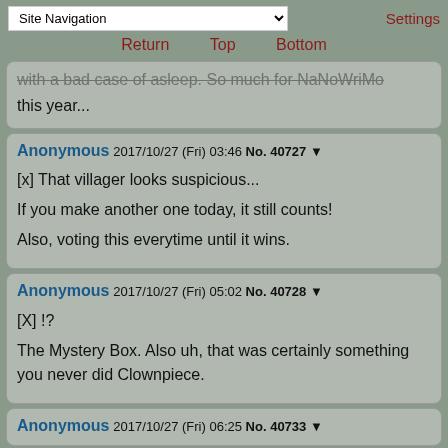Site Navigation   Settings
Return   Top   Bottom
with a bad case of asleep. So much for NaNoWriMo this year...
Anonymous 2017/10/27 (Fri) 03:46 No. 40727 ▼
[x] That villager looks suspicious...

If you make another one today, it still counts!

Also, voting this everytime until it wins.
Anonymous 2017/10/27 (Fri) 05:02 No. 40728 ▼
[X] !?

The Mystery Box. Also uh, that was certainly something you never did Clownpiece.
Anonymous 2017/10/27 (Fri) 06:25 No. 40733 ▼